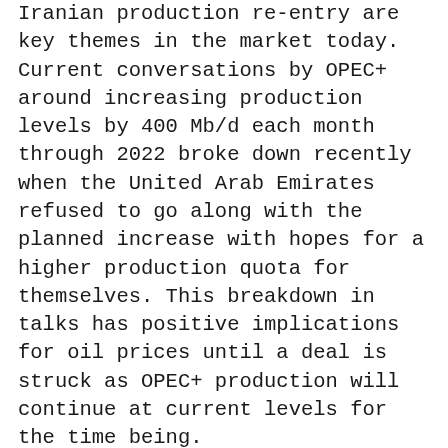Iranian production re-entry are key themes in the market today. Current conversations by OPEC+ around increasing production levels by 400 Mb/d each month through 2022 broke down recently when the United Arab Emirates refused to go along with the planned increase with hopes for a higher production quota for themselves. This breakdown in talks has positive implications for oil prices until a deal is struck as OPEC+ production will continue at current levels for the time being.
As developed countries have seen a sharp rebound in demand after COVID, major growth areas like India, China and much of Latin America continue to see downward pressure on demand as the pandemic and its related aftereffects persist. Even so, overall global demand appears on-trend to outpace production for the rest of 2021 and into early 2022 – if these countries can see a quick rebound, this trend should continue to add more